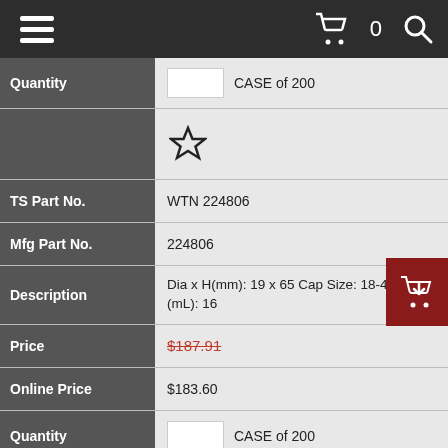Navigation bar with hamburger menu, cart (0), and search
| Field | Value |
| --- | --- |
| Quantity | CASE of 200 |
| (star/favorite) |  |
| TS Part No. | WTN 224806 |
| Mfg Part No. | 224806 |
| Description | Dia x H(mm): 19 x 65 Cap Size: 18-400 Size (mL): 16 |
| Price | $187.91 |
| Online Price | $183.60 |
| Quantity | CASE of 200 |
| (star/favorite) |  |
| TS Part No. | WTN 224808 |
| Mfg Part No. | 224808 |